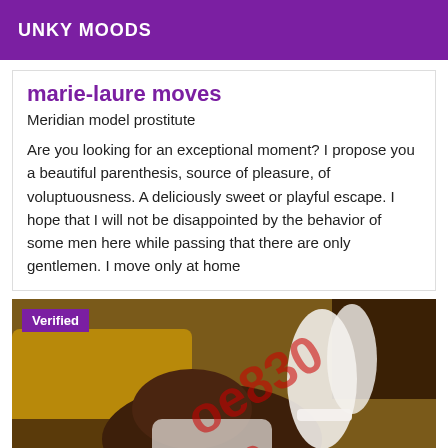UNKY MOODS
marie-laure moves
Meridian model prostitute
Are you looking for an exceptional moment? I propose you a beautiful parenthesis, source of pleasure, of voluptuousness. A deliciously sweet or playful escape. I hope that I will not be disappointed by the behavior of some men here while passing that there are only gentlemen. I move only at home
[Figure (photo): Photo of a woman in white lingerie on a sofa with a purple Verified badge overlay and red watermark text]